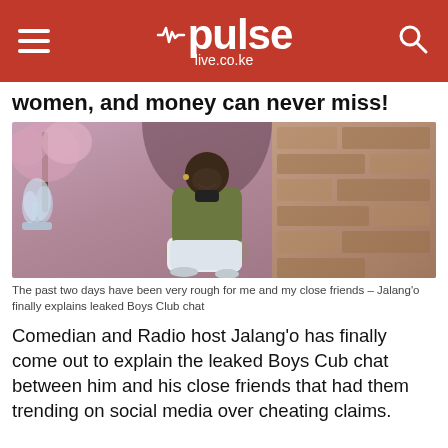pulse live.co.ke
women, and money can never miss!
[Figure (photo): Man in olive green jacket and white jeans sitting outdoors near a fountain with flowering trees and stone wall in background]
The past two days have been very rough for me and my close friends – Jalang'o finally explains leaked Boys Club chat
Comedian and Radio host Jalang'o has finally come out to explain the leaked Boys Cub chat between him and his close friends that had them trending on social media over cheating claims.